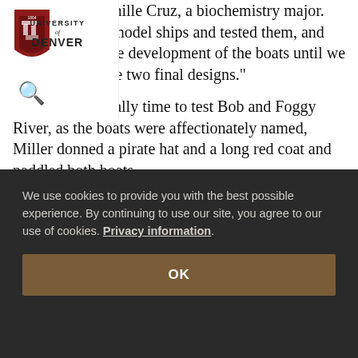[Figure (logo): University of Denver shield logo with text UNIVERSITY of DENVER]
work," says Camille Cruz, a biochemistry major. "We structured model ships and tested them, and then we did more development of the boats until we came up with the two final designs."
When it was finally time to test Bob and Foggy River, as the boats were affectionately named, Miller donned a pirate hat and a long red coat and paddled both boats
We use cookies to provide you with the best possible experience. By continuing to use our site, you agree to our use of cookies. Privacy information.